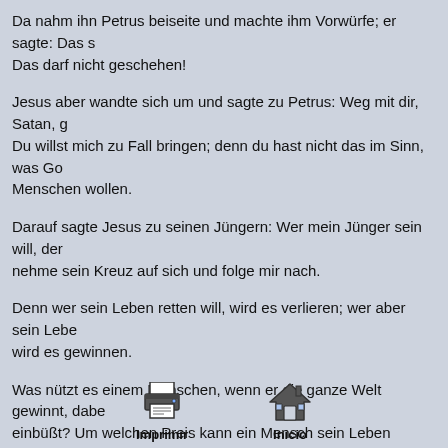Da nahm ihn Petrus beiseite und machte ihm Vorwürfe; er sagte: Das s… Das darf nicht geschehen!
Jesus aber wandte sich um und sagte zu Petrus: Weg mit dir, Satan, g… Du willst mich zu Fall bringen; denn du hast nicht das im Sinn, was Go… Menschen wollen.
Darauf sagte Jesus zu seinen Jüngern: Wer mein Jünger sein will, der… nehme sein Kreuz auf sich und folge mir nach.
Denn wer sein Leben retten will, wird es verlieren; wer aber sein Lebe… wird es gewinnen.
Was nützt es einem Menschen, wenn er die ganze Welt gewinnt, dabe… einbüßt? Um welchen Preis kann ein Mensch sein Leben zurückkaufen…
Der Menschensohn wird mit seinen Engeln in der Hoheit seines Vaters… Menschen vergelten, wie es seine Taten verdienen.
[Figure (illustration): Printer icon]
Imprimir
[Figure (illustration): Home icon]
Inicio